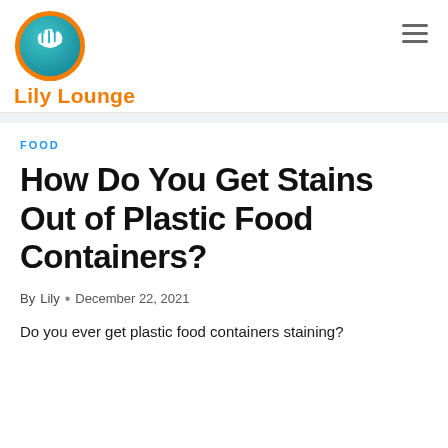[Figure (logo): Lily Lounge website logo: circular teal badge with white chef hat and utensils icon, orange text 'Lily Lounge' below]
Lily Lounge
FOOD
How Do You Get Stains Out of Plastic Food Containers?
By Lily • December 22, 2021
Do you ever get plastic food containers staining?